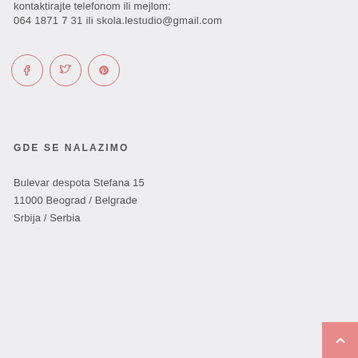kontaktirajte telefonom ili mejlom:
064 1871 7 31 ili skola.lestudio@gmail.com
[Figure (illustration): Three social media icon circles (Facebook, Twitter, Pinterest) with salmon/coral outlines and icons]
GDE SE NALAZIMO
Bulevar despota Stefana 15
11000 Beograd / Belgrade
Srbija / Serbia